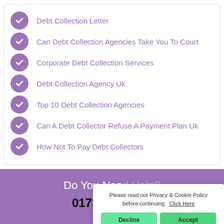Debt Collection Letter
Can Debt Collection Agencies Take You To Court
Corporate Debt Collection Services
Debt Collection Agency Uk
Top 10 Debt Collection Agencies
Can A Debt Collector Refuse A Payment Plan Uk
How Not To Pay Debt Collectors
Do You Nee...
0173...
Please read our Privacy & Cookie Policy before continuing. Click Here
Decline
Accept